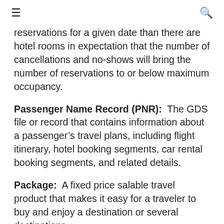≡  🔍
reservations for a given date than there are hotel rooms in expectation that the number of cancellations and no-shows will bring the number of reservations to or below maximum occupancy.
Passenger Name Record (PNR): The GDS file or record that contains information about a passenger's travel plans, including flight itinerary, hotel booking segments, car rental booking segments, and related details.
Package: A fixed price salable travel product that makes it easy for a traveler to buy and enjoy a destination or several destinations.